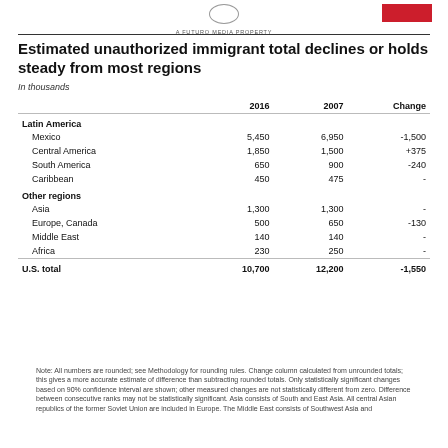A FUTURO MEDIA PROPERTY
Estimated unauthorized immigrant total declines or holds steady from most regions
In thousands
|  | 2016 | 2007 | Change |
| --- | --- | --- | --- |
| Latin America |  |  |  |
| Mexico | 5,450 | 6,950 | -1,500 |
| Central America | 1,850 | 1,500 | +375 |
| South America | 650 | 900 | -240 |
| Caribbean | 450 | 475 | - |
| Other regions |  |  |  |
| Asia | 1,300 | 1,300 | - |
| Europe, Canada | 500 | 650 | -130 |
| Middle East | 140 | 140 | - |
| Africa | 230 | 250 | - |
| U.S. total | 10,700 | 12,200 | -1,550 |
Note: All numbers are rounded; see Methodology for rounding rules. Change column calculated from unrounded totals; this gives a more accurate estimate of difference than subtracting rounded totals. Only statistically significant changes based on 90% confidence interval are shown; other measured changes are not statistically different from zero. Difference between consecutive ranks may not be statistically significant. Asia consists of South and East Asia. All central Asian republics of the former Soviet Union are included in Europe. The Middle East consists of Southwest Asia and